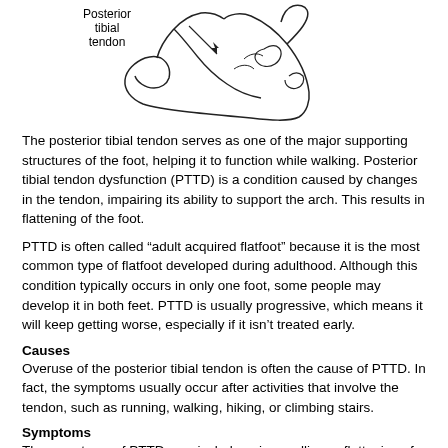[Figure (illustration): Line drawing of a human foot (lateral view) with a label and arrow pointing to the posterior tibial tendon along the inner ankle.]
The posterior tibial tendon serves as one of the major supporting structures of the foot, helping it to function while walking. Posterior tibial tendon dysfunction (PTTD) is a condition caused by changes in the tendon, impairing its ability to support the arch. This results in flattening of the foot.
PTTD is often called “adult acquired flatfoot” because it is the most common type of flatfoot developed during adulthood. Although this condition typically occurs in only one foot, some people may develop it in both feet. PTTD is usually progressive, which means it will keep getting worse, especially if it isn’t treated early.
Causes
Overuse of the posterior tibial tendon is often the cause of PTTD. In fact, the symptoms usually occur after activities that involve the tendon, such as running, walking, hiking, or climbing stairs.
Symptoms
The symptoms of PTTD may include pain, swelling, a flattening of the arch, and an inward rolling of the ankle. As the condition progresses, the symptoms will change.